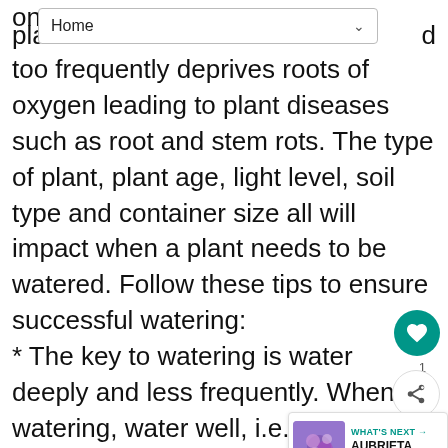Home
too frequently deprives roots of oxygen leading to plant diseases such as root and stem rots. The type of plant, plant age, light level, soil type and container size all will impact when a plant needs to be watered. Follow these tips to ensure successful watering:
* The key to watering is water deeply and less frequently. When watering, water well, i.e. provide enough water to thoroughly saturate the root ball. With in-ground plants, this means thoroughly soaking the soil until water has penetrated to a depth of 6 to 7 inches (1' being better). With container grown plants, provide enough water to allow water to flow through the drainage holes.
[Figure (other): Floating UI elements: heart/like button (teal circle), share button, and a 'What's Next' card showing Aubrieta The Purple plant thumbnail]